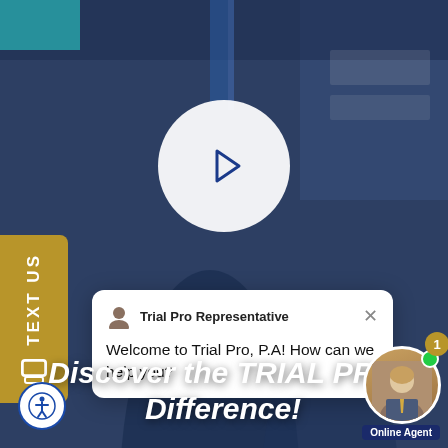[Figure (screenshot): Law firm website screenshot showing two businessmen in suits in background, a play button overlay, a chat popup from 'Trial Pro Representative' saying 'Welcome to Trial Pro, P.A! How can we help you?', a 'TEXT US' sidebar button, an accessibility icon, and an 'Online Agent' chat widget in the bottom right.]
TEXT US
Trial Pro Representative
Welcome to Trial Pro, P.A! How can we help you?
Discover the TRIAL PRO Difference!
Online Agent